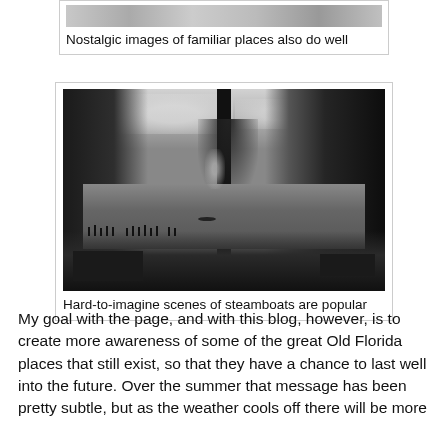Nostalgic images of familiar places also do well
[Figure (photo): Black and white historical photograph of a river scene with trees, a tall central tree, waterway with boats, steamboat smoke, people standing near the shore, and wooden dock structures in the foreground]
Hard-to-imagine scenes of steamboats are popular
My goal with the page, and with this blog, however, is to create more awareness of some of the great Old Florida places that still exist, so that they have a chance to last well into the future. Over the summer that message has been pretty subtle, but as the weather cools off there will be more